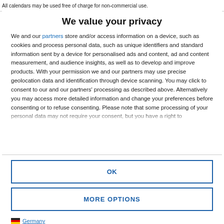All calendars may be used free of charge for non-commercial use.
We value your privacy
We and our partners store and/or access information on a device, such as cookies and process personal data, such as unique identifiers and standard information sent by a device for personalised ads and content, ad and content measurement, and audience insights, as well as to develop and improve products. With your permission we and our partners may use precise geolocation data and identification through device scanning. You may click to consent to our and our partners' processing as described above. Alternatively you may access more detailed information and change your preferences before consenting or to refuse consenting. Please note that some processing of your personal data may not require your consent, but you have a right to
OK
MORE OPTIONS
Germany